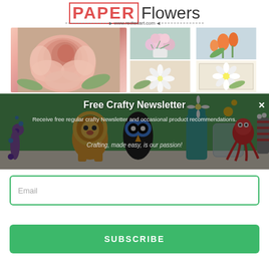PAPER Flowers
www.redtedart.com
[Figure (photo): Collage of paper flower photos: large pink rose on left, vase of pink flowers top center, orange tulips top right, white daisy bottom right]
[Figure (photo): Background photo of craft animal puppets including a lion, owl, snake, octopus on a shelf with flowers in a jar]
Free Crafty Newsletter
Receive free regular crafty Newsletter and occasional product recommendations.
Crafting, made easy, is our passion!
Email
SUBSCRIBE